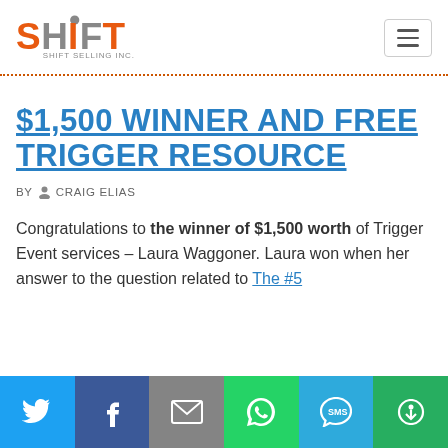[Figure (logo): SHIFT Selling Inc. logo - orange and grey stylized text with person icon]
$1,500 WINNER AND FREE TRIGGER RESOURCE
BY CRAIG ELIAS
Congratulations to the winner of $1,500 worth of Trigger Event services – Laura Waggoner. Laura won when her answer to the question related to The #5
[Figure (infographic): Social sharing bar with Twitter, Facebook, Email, WhatsApp, SMS, and More buttons]